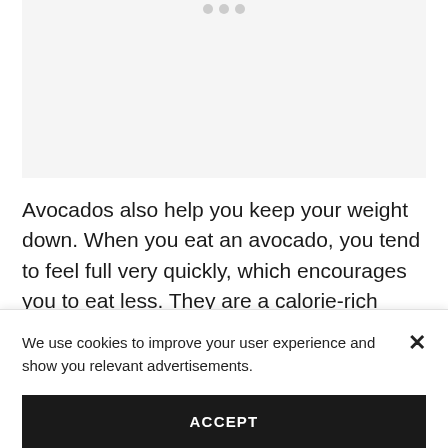[Figure (other): Gray placeholder image area at the top of the page with navigation dots]
Avocados also help you keep your weight down. When you eat an avocado, you tend to feel full very quickly, which encourages you to eat less. They are a calorie-rich superfood at 48 calories per ounce. So, to get the best
We use cookies to improve your user experience and show you relevant advertisements.
ACCEPT